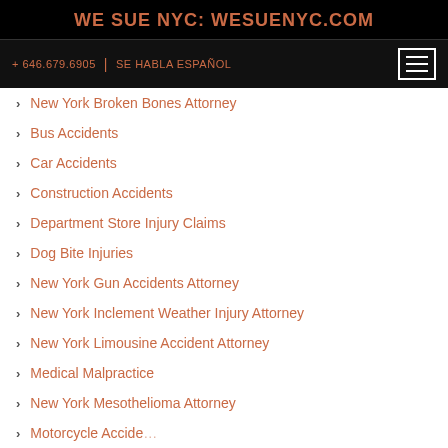WE SUE NYC: WESUENYC.COM
+ 646.679.6905 | SE HABLA ESPAÑOL
New York Broken Bones Attorney
Bus Accidents
Car Accidents
Construction Accidents
Department Store Injury Claims
Dog Bite Injuries
New York Gun Accidents Attorney
New York Inclement Weather Injury Attorney
New York Limousine Accident Attorney
Medical Malpractice
New York Mesothelioma Attorney
Motorcycle Accidents